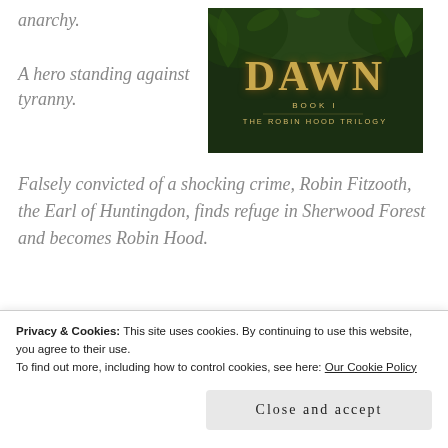anarchy.
[Figure (illustration): Book cover for 'Scarlet Hood Dawn, Book 1: The Robin Hood Trilogy' showing a dark forest background with golden title text.]
A hero standing against tyranny.
Falsely convicted of a shocking crime, Robin Fitzooth, the Earl of Huntingdon, finds refuge in Sherwood Forest and becomes Robin Hood.
Privacy & Cookies: This site uses cookies. By continuing to use this website, you agree to their use.
To find out more, including how to control cookies, see here: Our Cookie Policy
Close and accept